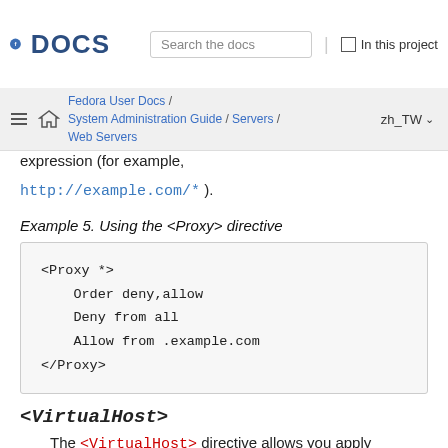Fedora DOCS — Search the docs | In this project
Fedora User Docs / System Administration Guide / Servers / Web Servers — zh_TW
expression (for example, http://example.com/* ).
Example 5. Using the <Proxy> directive
<Proxy *>
    Order deny,allow
    Deny from all
    Allow from .example.com
</Proxy>
<VirtualHost>
The <VirtualHost> directive allows you apply certain directives to particular virtual hosts only